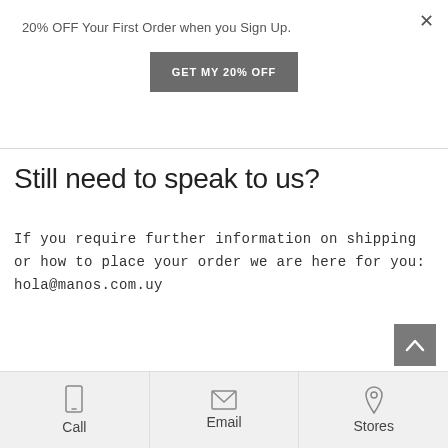20% OFF Your First Order when you Sign Up.
GET MY 20% OFF
Still need to speak to us?
If you require further information on shipping or how to place your order we are here for you: hola@manos.com.uy
Call | Email | Stores